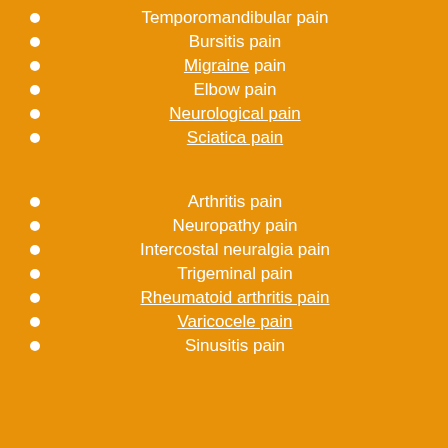Temporomandibular pain
Bursitis pain
Migraine pain
Elbow pain
Neurological pain
Sciatica pain
Arthritis pain
Neuropathy pain
Intercostal neuralgia pain
Trigeminal pain
Rheumatoid arthritis pain
Varicocele pain
Sinusitis pain